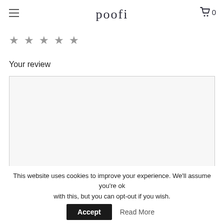poofi
[Figure (other): Five star rating icons (empty/grey stars) for user review]
Your review
[Figure (screenshot): Empty text area for writing a review]
This website uses cookies to improve your experience. We'll assume you're ok with this, but you can opt-out if you wish. Accept Read More